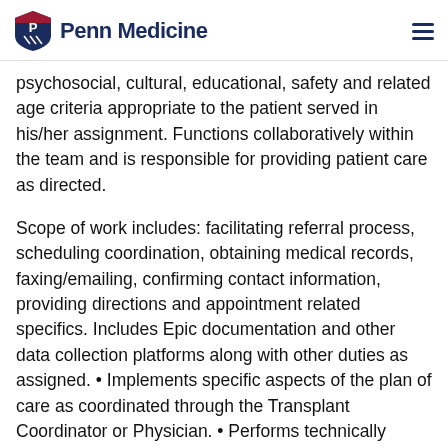Penn Medicine
psychosocial, cultural, educational, safety and related age criteria appropriate to the patient served in his/her assignment. Functions collaboratively within the team and is responsible for providing patient care as directed.
Scope of work includes: facilitating referral process, scheduling coordination, obtaining medical records, faxing/emailing, confirming contact information, providing directions and appointment related specifics. Includes Epic documentation and other data collection platforms along with other duties as assigned. • Implements specific aspects of the plan of care as coordinated through the Transplant Coordinator or Physician. • Performs technically oriented processes and assists with patient care requirements. • Provides patient care that is within the scope of both professional and institutional standards. • Obtains and tests